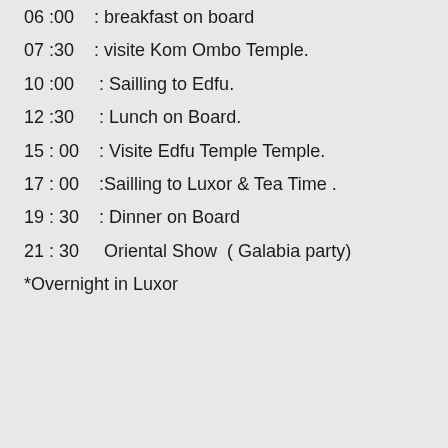06 :00   : breakfast on board
07 :30   : visite Kom Ombo Temple.
10 :00   : Sailling to Edfu.
12 :30   : Lunch on Board.
15 : 00   : Visite Edfu Temple Temple.
17 : 00   :Sailling to Luxor & Tea Time .
19 : 30   : Dinner on Board
21 : 30   Oriental Show  ( Galabia party)
*Overnight in Luxor